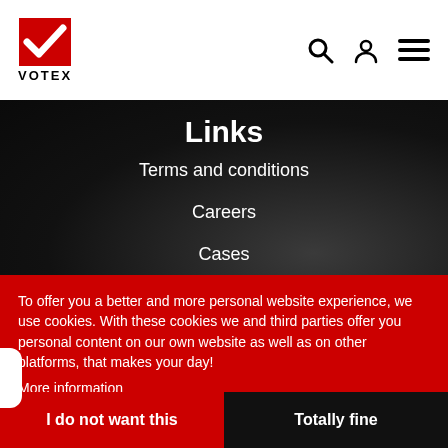VOTEX
Links
Terms and conditions
Careers
Cases
To offer you a better and more personal website experience, we use cookies. With these cookies we and third parties offer you personal content on our own website as well as on other platforms, that makes your day!
More information
I do not want this
Totally fine